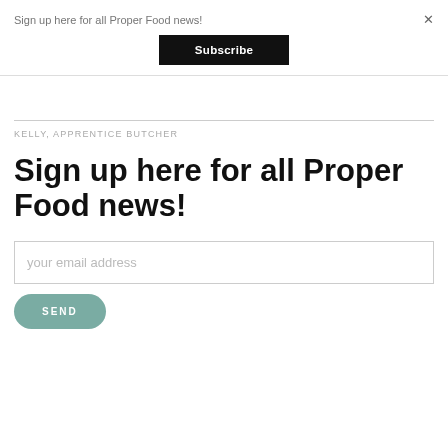Sign up here for all Proper Food news!
[Figure (other): Subscribe button - black rectangle with white text 'Subscribe']
KELLY, APPRENTICE BUTCHER
Sign up here for all Proper Food news!
[Figure (other): Email input field with placeholder 'your email address' and a teal SEND button below]
your email address
SEND